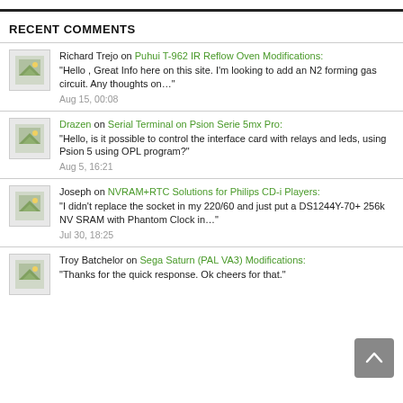RECENT COMMENTS
Richard Trejo on Puhui T-962 IR Reflow Oven Modifications: "Hello , Great Info here on this site. I'm looking to add an N2 forming gas circuit. Any thoughts on…" Aug 15, 00:08
Drazen on Serial Terminal on Psion Serie 5mx Pro: "Hello, is it possible to control the interface card with relays and leds, using Psion 5 using OPL program?" Aug 5, 16:21
Joseph on NVRAM+RTC Solutions for Philips CD-i Players: "I didn't replace the socket in my 220/60 and just put a DS1244Y-70+ 256k NV SRAM with Phantom Clock in…" Jul 30, 18:25
Troy Batchelor on Sega Saturn (PAL VA3) Modifications: "Thanks for the quick response. Ok cheers for that."